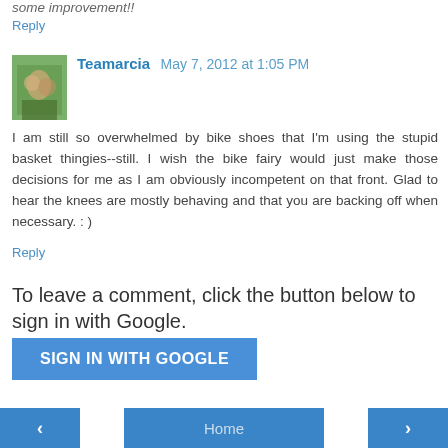some improvement!!
Reply
Teamarcia  May 7, 2012 at 1:05 PM
I am still so overwhelmed by bike shoes that I'm using the stupid basket thingies--still. I wish the bike fairy would just make those decisions for me as I am obviously incompetent on that front. Glad to hear the knees are mostly behaving and that you are backing off when necessary. : )
Reply
To leave a comment, click the button below to sign in with Google.
SIGN IN WITH GOOGLE
‹  Home  ›